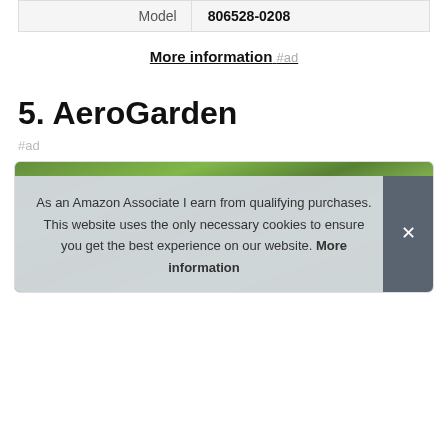| Model | 806528-0208 |
More information #ad
5. AeroGarden
#ad
[Figure (photo): AeroGarden product card with plants image]
As an Amazon Associate I earn from qualifying purchases. This website uses the only necessary cookies to ensure you get the best experience on our website. More information